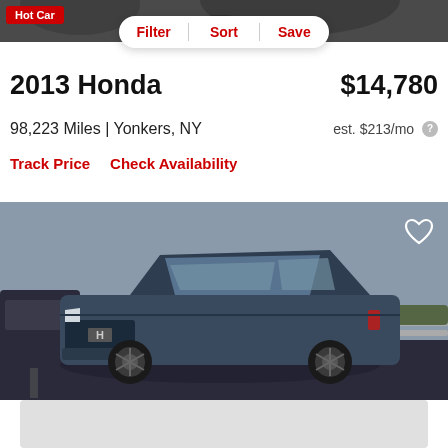[Figure (screenshot): Top portion of a car photo showing dark background with Hot Car badge]
Hot Car
Filter  |  Sort  |  Save
2013 Honda
$14,780
98,223 Miles | Yonkers, NY
est. $213/mo
Track Price   Check Availability
[Figure (photo): Blue/dark gray Honda Pilot SUV parked in a lot, front 3/4 view, with heart/favorite icon in top right corner]